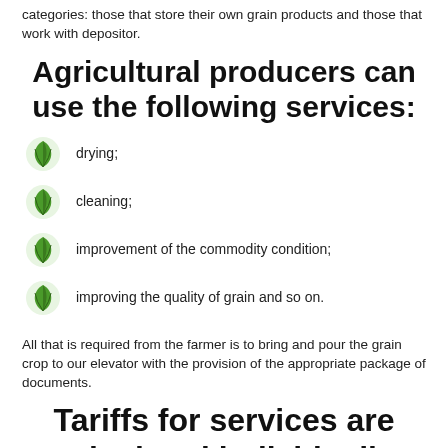categories: those that store their own grain products and those that work with depositor.
Agricultural producers can use the following services:
drying;
cleaning;
improvement of the commodity condition;
improving the quality of grain and so on.
All that is required from the farmer is to bring and pour the grain crop to our elevator with the provision of the appropriate package of documents.
Tariffs for services are calculated individually and